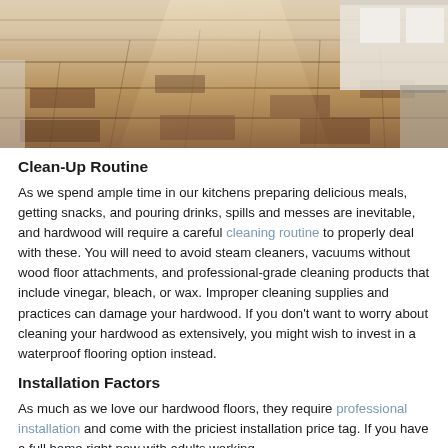[Figure (photo): Overhead view of a kitchen with wide-plank hardwood flooring in warm brown tones, with white cabinetry and natural light.]
Clean-Up Routine
As we spend ample time in our kitchens preparing delicious meals, getting snacks, and pouring drinks, spills and messes are inevitable, and hardwood will require a careful cleaning routine to properly deal with these. You will need to avoid steam cleaners, vacuums without wood floor attachments, and professional-grade cleaning products that include vinegar, bleach, or wax. Improper cleaning supplies and practices can damage your hardwood. If you don't want to worry about cleaning your hardwood as extensively, you might wish to invest in a waterproof flooring option instead.
Installation Factors
As much as we love our hardwood floors, they require professional installation and come with the priciest installation price tag. If you have a full home right now with adults working